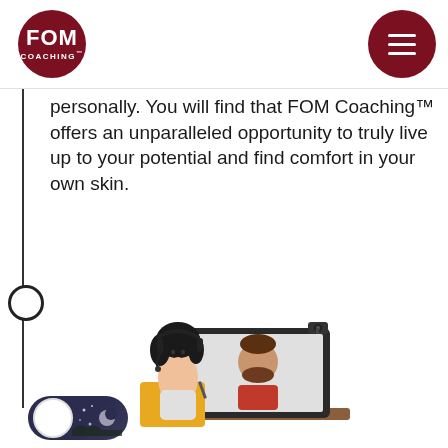[Figure (logo): FOM Coaching logo — dark red circle with white text 'FOM' and 'COACHING™']
[Figure (other): Dark red circle with white hamburger menu icon (three horizontal lines)]
personally. You will find that FOM Coaching™ offers an unparalleled opportunity to truly live up to your potential and find comfort in your own skin.
[Figure (illustration): Illustration of a woman with headphones and curly black hair, holding a folder, sitting in front of a laptop showing a video call with a bearded man in a red shirt. A small webcam is on top of the laptop.]
[Figure (other): Dark mode toggle switch — pill-shaped, dark navy background with white circle knob on left and moon/dots on right]